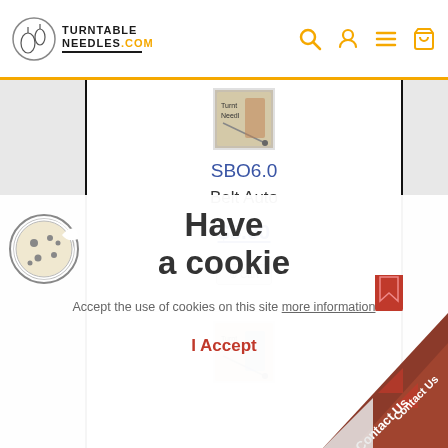[Figure (logo): TurntableNeedles.com logo with hand/needle icon and text]
[Figure (screenshot): Product listing: SBO6.0, Belt Auto, $5.00 with add to cart button, and partial second product below]
[Figure (infographic): Cookie consent overlay with cookie icon, 'Have a cookie' heading, accept the use of cookies text with more information link, I Accept button]
[Figure (illustration): Contact Us triangular corner bookmark in dark red/brown]